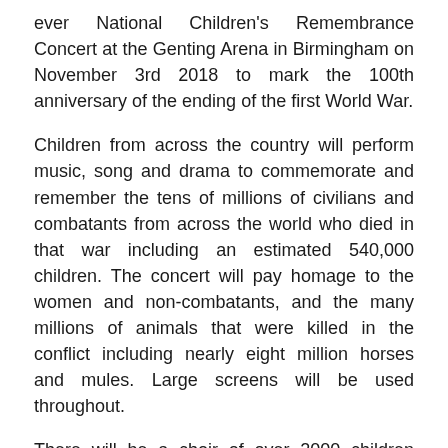ever National Children's Remembrance Concert at the Genting Arena in Birmingham on November 3rd 2018 to mark the 100th anniversary of the ending of the first World War.
Children from across the country will perform music, song and drama to commemorate and remember the tens of millions of civilians and combatants from across the world who died in that war including an estimated 540,000 children. The concert will pay homage to the women and non-combatants, and the many millions of animals that were killed in the conflict including nearly eight million horses and mules. Large screens will be used throughout.
There will be a choir of over 2000 children dressed so as to represent two giant poppies and an orchestra of 180 Young Musicians made up of members of the Birmingham Schools' and Ealing Youth Orchestras.